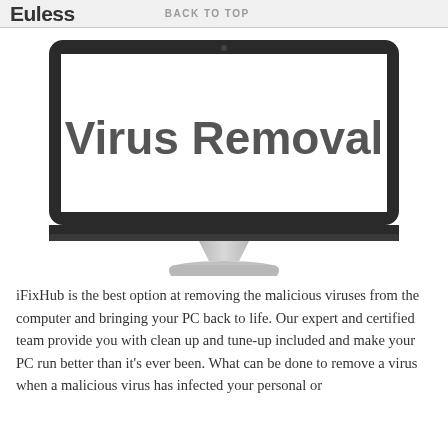Euless  BACK TO TOP
[Figure (illustration): Desktop computer monitor displaying the text 'Virus Removal' in large bold gray font, with a silver iMac-style stand.]
iFixHub is the best option at removing the malicious viruses from the computer and bringing your PC back to life. Our expert and certified team provide you with clean up and tune-up included and make your PC run better than it's ever been. What can be done to remove a virus when a malicious virus has infected your personal or